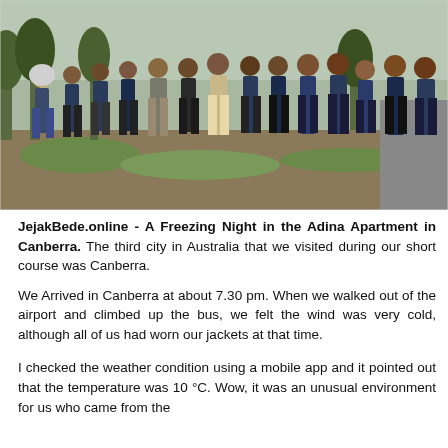[Figure (photo): Group photo of approximately 15 people standing outdoors near a road with trees and grassy area in background, many wearing dark blue jackets or uniforms]
JejakBede.online - A Freezing Night in the Adina Apartment in Canberra. The third city in Australia that we visited during our short course was Canberra.
We Arrived in Canberra at about 7.30 pm. When we walked out of the airport and climbed up the bus, we felt the wind was very cold, although all of us had worn our jackets at that time.
I checked the weather condition using a mobile app and it pointed out that the temperature was 10 °C. Wow, it was an unusual environment for us who came from the